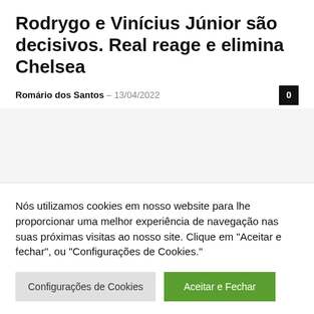Rodrygo e Vinícius Júnior são decisivos. Real reage e elimina Chelsea
Romário dos Santos – 13/04/2022
Nós utilizamos cookies em nosso website para lhe proporcionar uma melhor experiência de navegação nas suas próximas visitas ao nosso site. Clique em "Aceitar e fechar", ou "Configurações de Cookies."